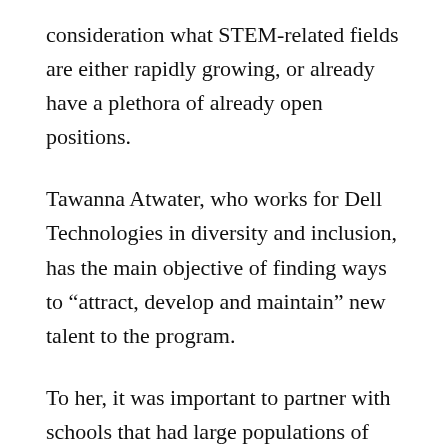consideration what STEM-related fields are either rapidly growing, or already have a plethora of already open positions.
Tawanna Atwater, who works for Dell Technologies in diversity and inclusion, has the main objective of finding ways to “attract, develop and maintain” new talent to the program.
To her, it was important to partner with schools that had large populations of minority students to try to close what she calls the talent gap. The courses offered at the 11 schools by Dell are like